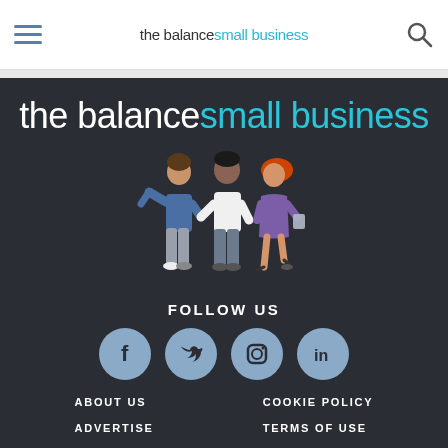the balance small business
[Figure (logo): The Balance Small Business logo with illustration of three people]
FOLLOW US
[Figure (infographic): Social media icons: Facebook, Twitter, Instagram, LinkedIn]
ABOUT US
COOKIE POLICY
ADVERTISE
TERMS OF USE